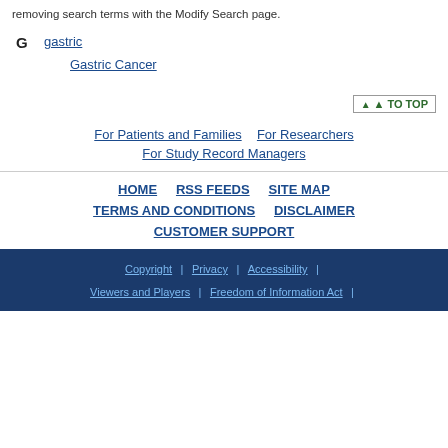removing search terms with the Modify Search page.
G  gastric  Gastric Cancer
TO TOP
For Patients and Families  For Researchers  For Study Record Managers
HOME  RSS FEEDS  SITE MAP  TERMS AND CONDITIONS  DISCLAIMER  CUSTOMER SUPPORT
Copyright | Privacy | Accessibility | Viewers and Players | Freedom of Information Act |